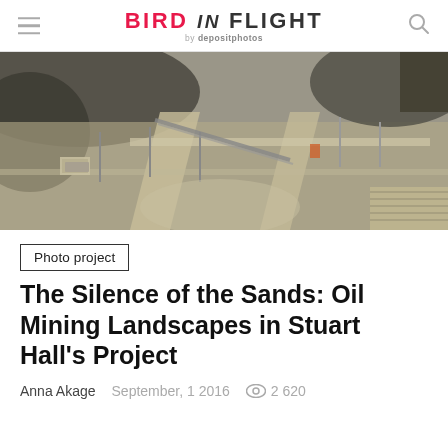BIRD IN FLIGHT by depositphotos
[Figure (photo): Aerial photograph of oil mining landscape showing industrial infrastructure, roads, pipelines, and excavated terrain in muted tones of grey, brown, and tan.]
Photo project
The Silence of the Sands: Oil Mining Landscapes in Stuart Hall's Project
Anna Akage   September, 1 2016   2 620